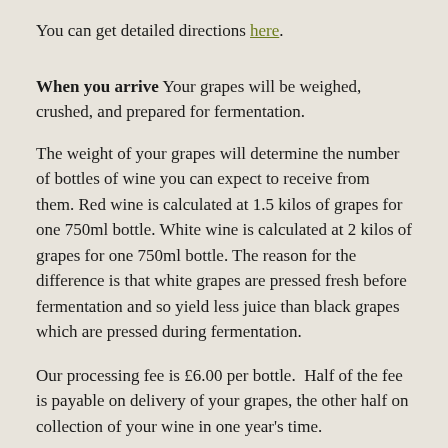You can get detailed directions here.
When you arrive Your grapes will be weighed, crushed, and prepared for fermentation.
The weight of your grapes will determine the number of bottles of wine you can expect to receive from them. Red wine is calculated at 1.5 kilos of grapes for one 750ml bottle. White wine is calculated at 2 kilos of grapes for one 750ml bottle. The reason for the difference is that white grapes are pressed fresh before fermentation and so yield less juice than black grapes which are pressed during fermentation.
Our processing fee is £6.00 per bottle.  Half of the fee is payable on delivery of your grapes, the other half on collection of your wine in one year's time.
We will give you a receipt for your grapes and down payment, and sign a processing agreement with you.
Please get in touch if you have any questions. Contact Craig at